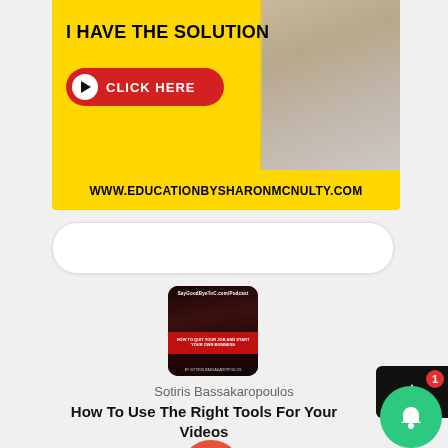[Figure (infographic): Yellow advertisement banner for educationbysharonmcnulty.com with red CLICK HERE button and woman photo]
[Figure (other): Empty search/input bar with rounded corners]
[Figure (photo): Podcast cover art thumbnail - dark background with red stripe, SayGoodbyeToC... podcast branding]
Sotiris Bassakaropoulos
How To Use The Right Tools For Your Videos
[Figure (other): Audio player controls: skip back, replay, play button (orange), forward, skip forward icons]
[Figure (other): Green notification bell button with red badge showing 1, overlaid on dark box with up arrow]